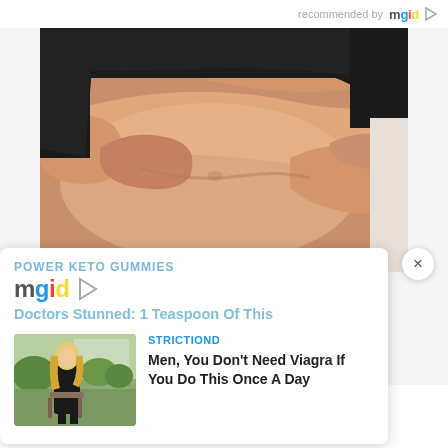recommended by mgid
[Figure (photo): Close-up photo of a person's midsection/belly, hands pinching stomach fat, person wearing black clothing against light background]
POWER KETO GUMMIES
[Figure (logo): mgid logo with play button icon]
Doctors Stunned: 1 Teaspoon Of This
[Figure (photo): Thumbnail photo of a blonde woman sitting outdoors in a garden/park setting]
STRICTIOND
Men, You Don't Need Viagra If You Do This Once A Day
In the caption of her post, Madonna wrote, "November issue of @umagazine